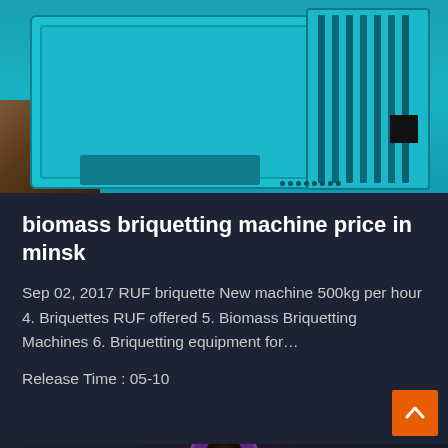[Figure (photo): Industrial biomass briquetting machine in teal/turquoise color, shown in a workshop or outdoor industrial setting with debris on the left side]
biomass briquetting machine price in minsk
Sep 02, 2017 RUF briquette New machine 500kg per hour 4. Briquettes RUF offered 5. Biomass Briquetting Machines 6. Briquetting equipment for…
Release Time : 05-10
[Figure (photo): Customer service agent (woman with headset) at bottom, with Leave Message and Chat Online buttons]
Leave Message
Chat Online